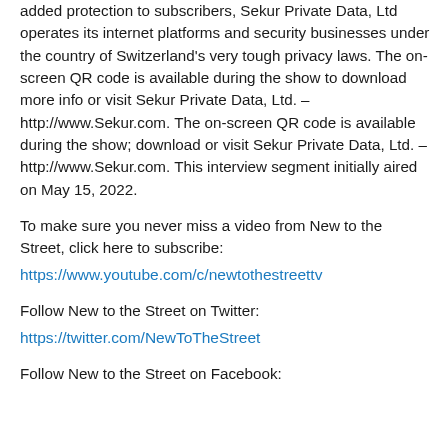added protection to subscribers, Sekur Private Data, Ltd operates its internet platforms and security businesses under the country of Switzerland's very tough privacy laws. The on-screen QR code is available during the show to download more info or visit Sekur Private Data, Ltd. – http://www.Sekur.com. The on-screen QR code is available during the show; download or visit Sekur Private Data, Ltd. – http://www.Sekur.com. This interview segment initially aired on May 15, 2022.
To make sure you never miss a video from New to the Street, click here to subscribe:
https://www.youtube.com/c/newtothestreettv
Follow New to the Street on Twitter:
https://twitter.com/NewToTheStreet
Follow New to the Street on Facebook: